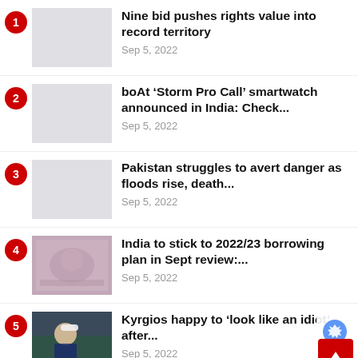1. Nine bid pushes rights value into record territory — Sep 5, 2022
2. boAt ‘Storm Pro Call’ smartwatch announced in India: Check... — Sep 5, 2022
3. Pakistan struggles to avert danger as floods rise, death... — Sep 5, 2022
4. India to stick to 2022/23 borrowing plan in Sept review:... — Sep 5, 2022
5. Kyrgios happy to ‘look like an idiot’ after... — Sep 5, 2022